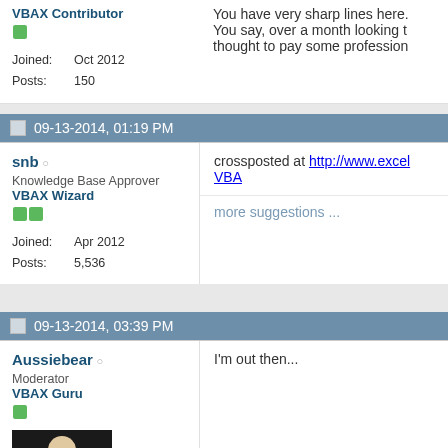VBAX Contributor
Joined: Oct 2012
Posts: 150
You have very sharp lines here. You say, over a month looking t... thought to pay some profession...
09-13-2014, 01:19 PM
snb
Knowledge Base Approver
VBAX Wizard
Joined: Apr 2012
Posts: 5,536
crossposted at http://www.excel... VBA
more suggestions ...
09-13-2014, 03:39 PM
Aussiebear
Moderator
VBAX Guru
I'm out then...